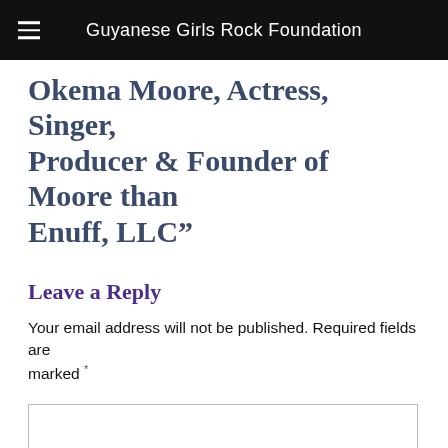Guyanese Girls Rock Foundation
Okema Moore, Actress, Singer, Producer & Founder of Moore than Enuff, LLC”
Leave a Reply
Your email address will not be published. Required fields are marked *